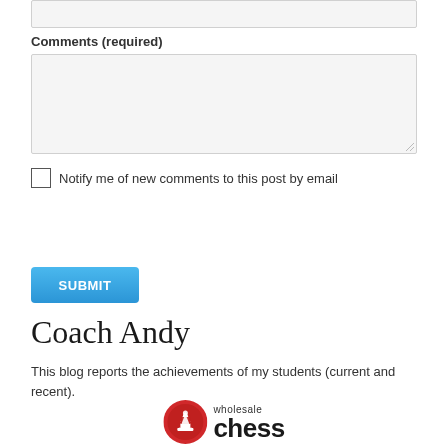Comments (required)
Notify me of new comments to this post by email
SUBMIT
Coach Andy
This blog reports the achievements of my students (current and recent).
[Figure (logo): Wholesale Chess logo — red circle with white chess piece icon and text 'wholesale chess']